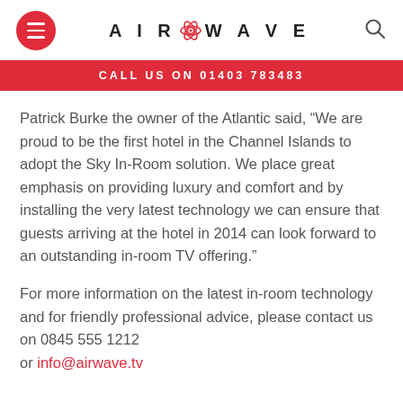AIRWAVE (logo with hamburger menu and search icon)
CALL US ON 01403 783483
Patrick Burke the owner of the Atlantic said, “We are proud to be the first hotel in the Channel Islands to adopt the Sky In-Room solution. We place great emphasis on providing luxury and comfort and by installing the very latest technology we can ensure that guests arriving at the hotel in 2014 can look forward to an outstanding in-room TV offering.”
For more information on the latest in-room technology and for friendly professional advice, please contact us on 0845 555 1212 or info@airwave.tv